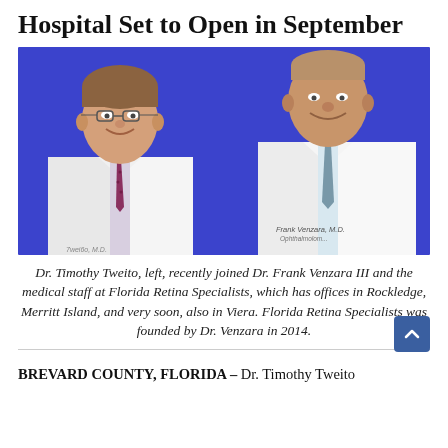Hospital Set to Open in September
[Figure (photo): Two male doctors in white lab coats standing side by side against a blue background. Left doctor wears glasses and a burgundy patterned tie. Right doctor wears a blue/grey tie. Name badge on right doctor reads Frank Venzara, M.D., Ophthalmolom...]
Dr. Timothy Tweito, left, recently joined Dr. Frank Venzara III and the medical staff at Florida Retina Specialists, which has offices in Rockledge, Merritt Island, and very soon, also in Viera. Florida Retina Specialists was founded by Dr. Venzara in 2014.
BREVARD COUNTY, FLORIDA – Dr. Timothy Tweito